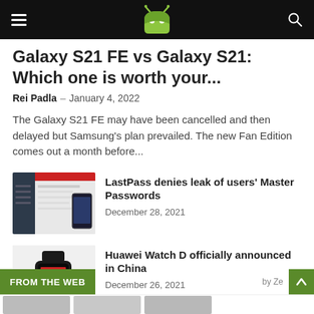Android Authority website header with hamburger menu, logo, and search icon
Galaxy S21 FE vs Galaxy S21: Which one is worth your...
Rei Padla – January 4, 2022
The Galaxy S21 FE may have been cancelled and then delayed but Samsung's plan prevailed. The new Fan Edition comes out a month before...
[Figure (screenshot): Thumbnail screenshot of LastPass application interface]
LastPass denies leak of users' Master Passwords
December 28, 2021
[Figure (photo): Photo of Huawei Watch D smartwatch on a light gray background]
Huawei Watch D officially announced in China
December 26, 2021
FROM THE WEB  by Ze